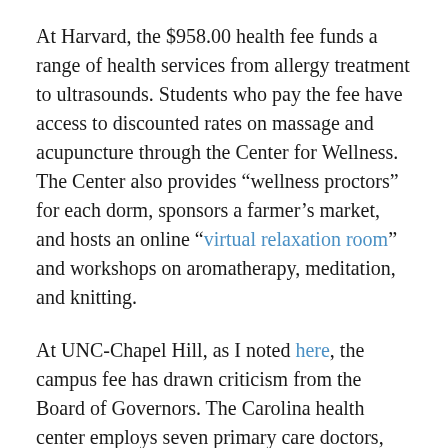At Harvard, the $958.00 health fee funds a range of health services from allergy treatment to ultrasounds. Students who pay the fee have access to discounted rates on massage and acupuncture through the Center for Wellness. The Center also provides “wellness proctors” for each dorm, sponsors a farmer’s market, and hosts an online “virtual relaxation room” and workshops on aromatherapy, meditation, and knitting.
At UNC-Chapel Hill, as I noted here, the campus fee has drawn criticism from the Board of Governors. The Carolina health center employs seven primary care doctors, four psychiatrists, eight psychologists, six social workers, 11 athletic trainers, and dozens of additional doctors, nurses, and staff. Students have access to walk-in therapy sessions, nutrition counseling, tailored nutrition plans from registered dietitians, and access to “sexperts” who provide sex health counseling. The fee has also paid for staffers for a theatre